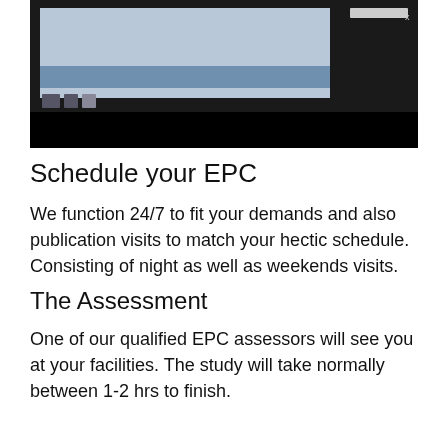[Figure (screenshot): Screenshot of a computer screen showing a presentation or document application with a light blue/gray content area and dark taskbar/window chrome.]
Schedule your EPC
We function 24/7 to fit your demands and also publication visits to match your hectic schedule. Consisting of night as well as weekends visits.
The Assessment
One of our qualified EPC assessors will see you at your facilities. The study will take normally between 1-2 hrs to finish.